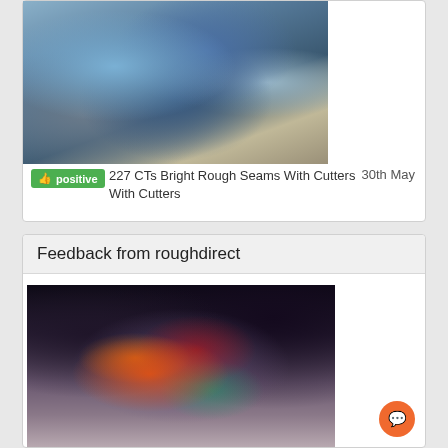[Figure (photo): Pile of rough blue/grey opal stones with cutters]
positive  227 CTs Bright Rough Seams With Cutters    30th May
Feedback from roughdirect
[Figure (photo): Close-up of a single rough black opal stone showing vivid red, orange and green play of color, held by fingers against a dark background]